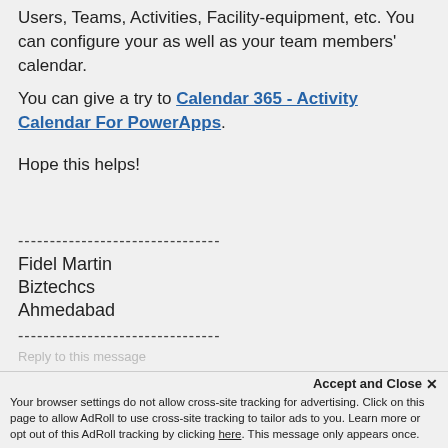Users, Teams, Activities, Facility-equipment, etc. You can configure your as well as your team members' calendar.
You can give a try to Calendar 365 - Activity Calendar For PowerApps.
Hope this helps!
--------------------------------
Fidel Martin
Biztechcs
Ahmedabad
--------------------------------
Your browser settings do not allow cross-site tracking for advertising. Click on this page to allow AdRoll to use cross-site tracking to tailor ads to you. Learn more or opt out of this AdRoll tracking by clicking here. This message only appears once.